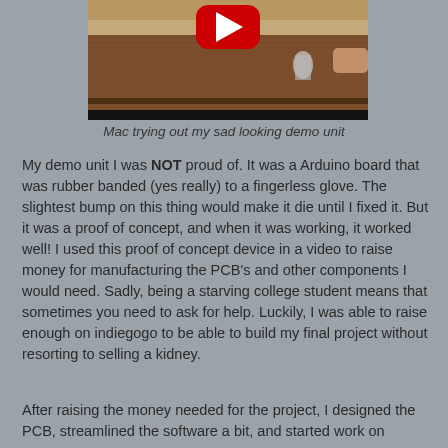[Figure (screenshot): YouTube video thumbnail showing a wooden table with a small device on it, and a red YouTube play button overlay in the top center.]
Mac trying out my sad looking demo unit
My demo unit I was NOT proud of. It was a Arduino board that was rubber banded (yes really) to a fingerless glove. The slightest bump on this thing would make it die until I fixed it. But it was a proof of concept, and when it was working, it worked well! I used this proof of concept device in a video to raise money for manufacturing the PCB's and other components I would need. Sadly, being a starving college student means that sometimes you need to ask for help. Luckily, I was able to raise enough on indiegogo to be able to build my final project without resorting to selling a kidney.
After raising the money needed for the project, I designed the PCB, streamlined the software a bit, and started work on